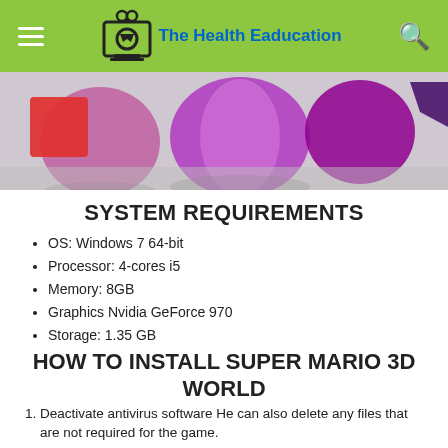The Health Eaducation
[Figure (photo): Colorful 3D cylinders or game scene with purple, red, and dark shapes on a light background.]
SYSTEM REQUIREMENTS
OS: Windows 7 64-bit
Processor: 4-cores i5
Memory: 8GB
Graphics Nvidia GeForce 970
Storage: 1.35 GB
HOW TO INSTALL SUPER MARIO 3D WORLD
Deactivate antivirus software He can also delete any files that are not required for the game.
Run the torrent client and download the torrent